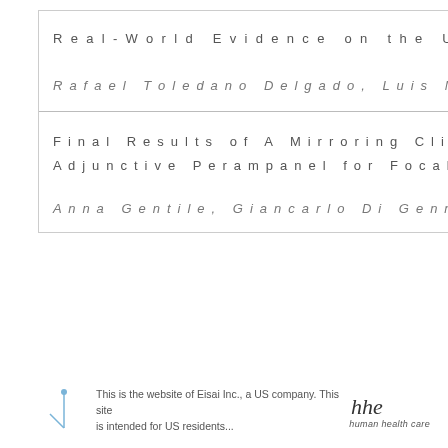Real-World Evidence on the Use of Perampa
Rafael Toledano Delgado, Luis Morillo, Pavel
Final Results of A Mirroring Clinical Practi
Adjunctive Perampanel for Focal-Onset Seiz
Anna Gentile, Giancarlo Di Gennaro, Alfredo
This is the website of Eisai Inc., a US company. This site is intended for US residents...